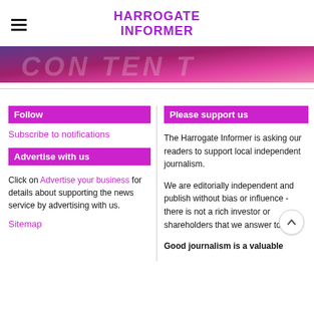HARROGATE INFORMER
[Figure (illustration): Banner image with purple-to-pink gradient background with partially visible stylized text]
Follow
Subscribe to notifications
Advertise with us
Click on Advertise your business for details about supporting the news service by advertising with us.
Sitemap
Please support us
The Harrogate Informer is asking our readers to support local independent journalism.
We are editorially independent and publish without bias or influence - there is not a rich investor or shareholders that we answer to.
Good journalism is a valuable